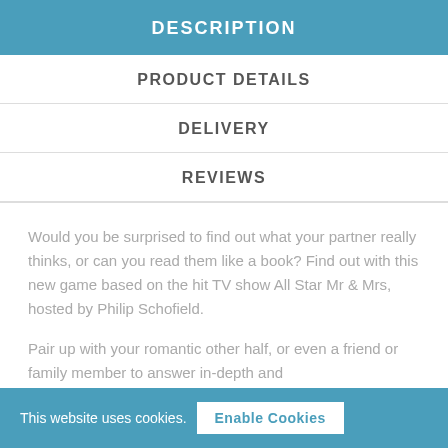DESCRIPTION
PRODUCT DETAILS
DELIVERY
REVIEWS
Would you be surprised to find out what your partner really thinks, or can you read them like a book? Find out with this new game based on the hit TV show All Star Mr & Mrs, hosted by Philip Schofield.
Pair up with your romantic other half, or even a friend or family member to answer in-depth and
This website uses cookies. Enable Cookies